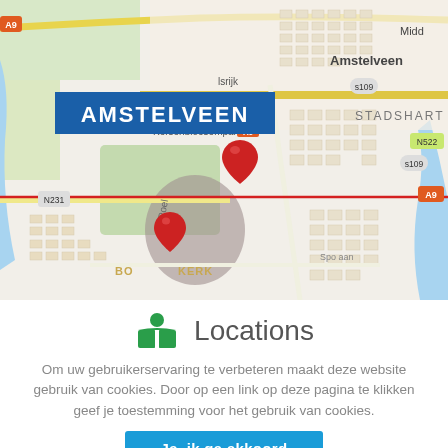[Figure (map): Street map of Amstelveen area showing Kersenbloesempark, Stadshart, De Poel, Boslankerk district, roads N231, A9, N522, S109, with two red map pin markers and a red horizontal line crossing the map. Blue label overlay reads AMSTELVEEN.]
Locations
Om uw gebruikerservaring te verbeteren maakt deze website gebruik van cookies. Door op een link op deze pagina te klikken geef je toestemming voor het gebruik van cookies.
Ja, ik ga akkoord